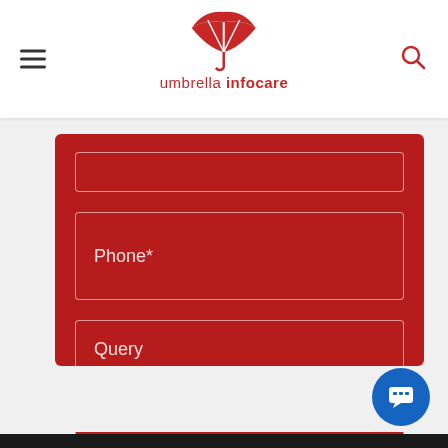[Figure (logo): Umbrella Infocare logo with red umbrella icon and text 'umbrella infocare']
Phone*
Query
GET IN TOUCH